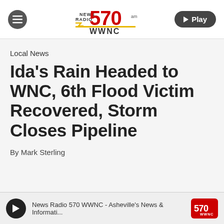News Radio 570 WWNC
Local News
Ida's Rain Headed to WNC, 6th Flood Victim Recovered, Storm Closes Pipeline
By Mark Sterling
News Radio 570 WWNC - Asheville's News & Informati...